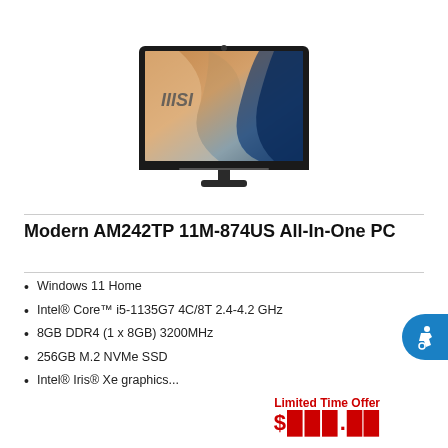[Figure (photo): MSI All-in-One PC monitor product photo showing a black monitor with MSI logo on screen displaying a stylized graphic]
Modern AM242TP 11M-874US All-In-One PC
Windows 11 Home
Intel® Core™ i5-1135G7 4C/8T 2.4-4.2 GHz
8GB DDR4 (1 x 8GB) 3200MHz
256GB M.2 NVMe SSD
Intel® Iris® Xe graphics...
Limited Time Offer
$xxx.xx